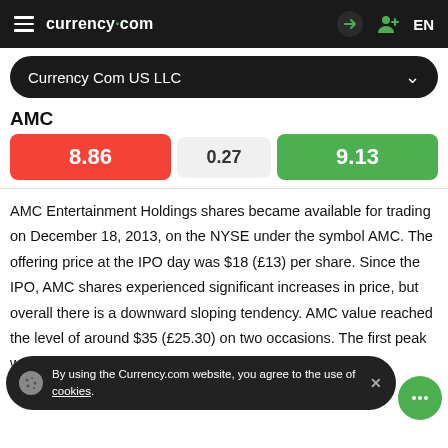currency.com
Currency Com US LLC
AMC
| Sell | Spread | Buy |
| --- | --- | --- |
| 8.86 | 0.27 | 9.13 |
AMC Entertainment Holdings shares became available for trading on December 18, 2013, on the NYSE under the symbol AMC. The offering price at the IPO day was $18 (£13) per share. Since the IPO, AMC shares experienced significant increases in price, but overall there is a downward sloping tendency. AMC value reached the level of around $35 (£25.30) on two occasions. The first peak was reached in March 2015 and the AMC stock price hit
By using the Currency.com website, you agree to the use of cookies.